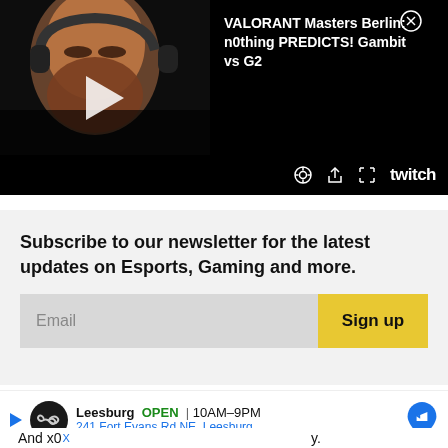[Figure (screenshot): Twitch video player showing a man with a beard and headphones, with a play button overlay. Video title: VALORANT Masters Berlin: n0thing PREDICTS! Gambit vs G2. Player controls including settings, share, fullscreen icons and Twitch logo at bottom.]
VALORANT Masters Berlin: n0thing PREDICTS! Gambit vs G2
Subscribe to our newsletter for the latest updates on Esports, Gaming and more.
Email
Sign up
[Figure (screenshot): Advertisement banner for Leesburg store. Shows play icon, circular logo, store name Leesburg, OPEN 10AM-9PM, address 241 Fort Evans Rd NE, Leesburg, and a blue map navigation icon.]
And x0